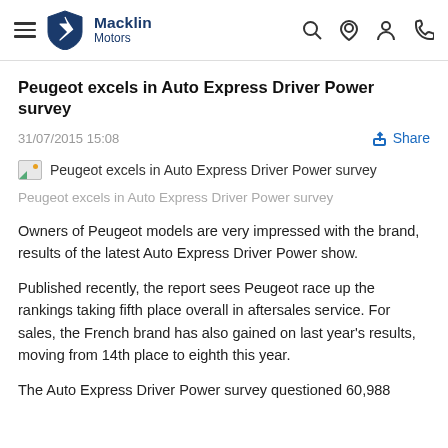Macklin Motors
Peugeot excels in Auto Express Driver Power survey
31/07/2015 15:08
[Figure (photo): Image placeholder icon for article photo with caption: Peugeot excels in Auto Express Driver Power survey]
Peugeot excels in Auto Express Driver Power survey
Owners of Peugeot models are very impressed with the brand, results of the latest Auto Express Driver Power show.
Published recently, the report sees Peugeot race up the rankings taking fifth place overall in aftersales service. For sales, the French brand has also gained on last year's results, moving from 14th place to eighth this year.
The Auto Express Driver Power survey questioned 60,988